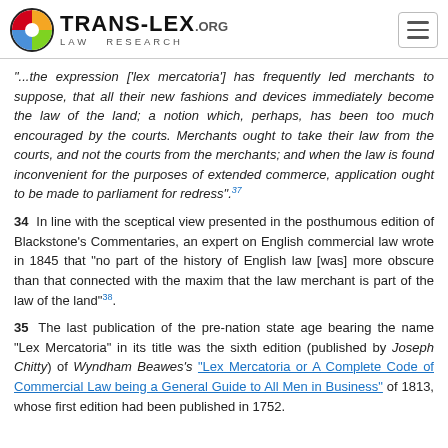TRANS-LEX.ORG LAW RESEARCH
"...the expression ['lex mercatoria'] has frequently led merchants to suppose, that all their new fashions and devices immediately become the law of the land; a notion which, perhaps, has been too much encouraged by the courts. Merchants ought to take their law from the courts, and not the courts from the merchants; and when the law is found inconvenient for the purposes of extended commerce, application ought to be made to parliament for redress".37
34  In line with the sceptical view presented in the posthumous edition of Blackstone's Commentaries, an expert on English commercial law wrote in 1845 that "no part of the history of English law [was] more obscure than that connected with the maxim that the law merchant is part of the law of the land"38.
35  The last publication of the pre-nation state age bearing the name "Lex Mercatoria" in its title was the sixth edition (published by Joseph Chitty) of Wyndham Beawes's "Lex Mercatoria or A Complete Code of Commercial Law being a General Guide to All Men in Business" of 1813, whose first edition had been published in 1752.